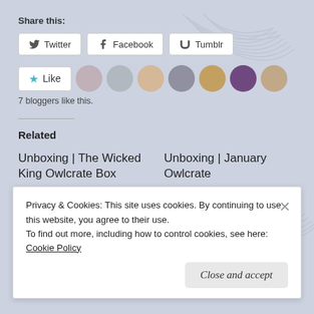Share this:
Twitter  Facebook  Tumblr
Like  [7 blogger avatars]  7 bloggers like this.
Related
Unboxing | The Wicked King Owlcrate Box
January 13, 2019
In "Bookish Fun"
Unboxing | January Owlcrate
February 1, 2019
In "Bookish Fun"
Privacy & Cookies: This site uses cookies. By continuing to use this website, you agree to their use.
To find out more, including how to control cookies, see here: Cookie Policy
[Close and accept]